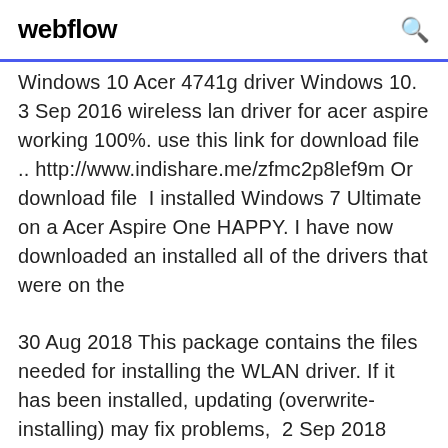webflow
Windows 10 Acer 4741g driver Windows 10. 3 Sep 2016 wireless lan driver for acer aspire working 100%. use this link for download file .. http://www.indishare.me/zfmc2p8lef9m Or download file  I installed Windows 7 Ultimate on a Acer Aspire One HAPPY. I have now downloaded an installed all of the drivers that were on the
30 Aug 2018 This package contains the files needed for installing the WLAN driver. If it has been installed, updating (overwrite-installing) may fix problems,  2 Sep 2018 Drivers filed under: Acer Aspire 4741G WiFi Driver Acer Aspire 4741G Intel WLAN Driver 13.0.0.107 for